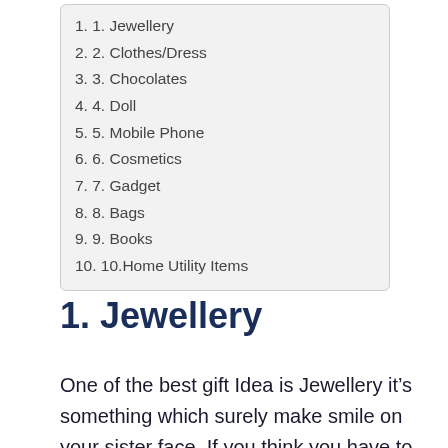1. Jewellery
2. Clothes/Dress
3. Chocolates
4. Doll
5. Mobile Phone
6. Cosmetics
7. Gadget
8. Bags
9. Books
10. Home Utility Items
1. Jewellery
One of the best gift Idea is Jewellery it’s something which surely make smile on your sister face. If you think you have to spend too much money on this don’t worry you can gift